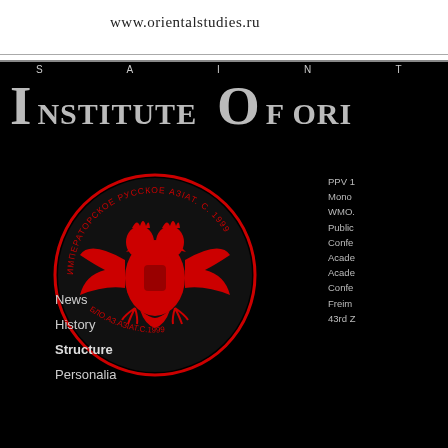www.orientalstudies.ru
SAINT PETERSBURG INSTITUTE OF ORIENTAL STUDIES
[Figure (logo): Red circular seal/emblem of the Saint Petersburg Institute of Oriental Studies with a double-headed eagle and Cyrillic text around the border, set on black background]
PPV 1
Mono
WMO.
Public
Confe
Acade
Acade
Confe
Freim
43rd Z
News
History
Structure
Personalia